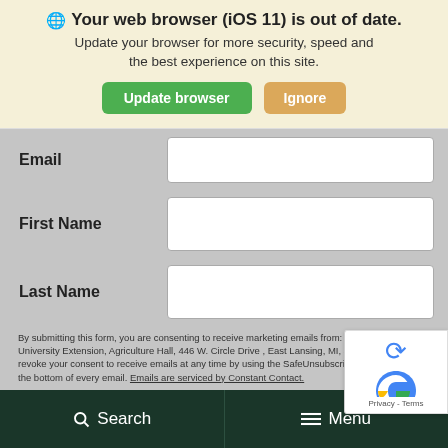Your web browser (iOS 11) is out of date. Update your browser for more security, speed and the best experience on this site. [Update browser] [Ignore]
Email
First Name
Last Name
By submitting this form, you are consenting to receive marketing emails from: Michigan State University Extension, Agriculture Hall, 446 W. Circle Drive , East Lansing, MI, 48824, US. You can revoke your consent to receive emails at any time by using the SafeUnsubscribe® link, found at the bottom of every email. Emails are serviced by Constant Contact.
Sign Up!
Search   Menu